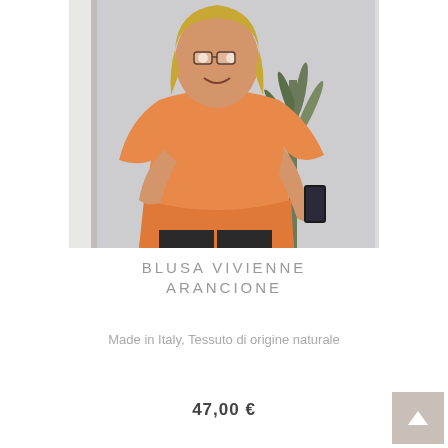[Figure (photo): A woman wearing an orange blouse photographed in a mirror selfie, with a plant visible in the background]
BLUSA VIVIENNE ARANCIONE
Made in Italy, Tessuto di origine naturale
47,00 €